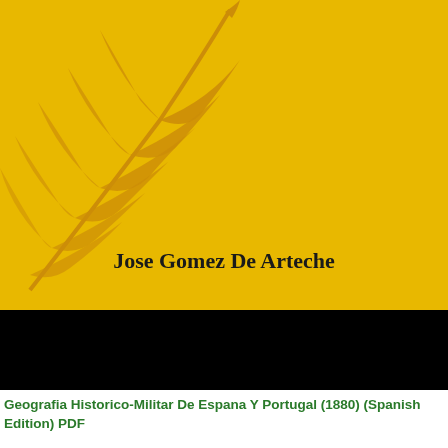[Figure (illustration): Book cover with yellow background featuring a golden feather/quill illustration in the upper-left area, a black band across the bottom portion, and the author name 'Jose Gomez De Arteche' in bold serif text centered on the yellow section.]
Geografia Historico-Militar De Espana Y Portugal (1880) (Spanish Edition) PDF